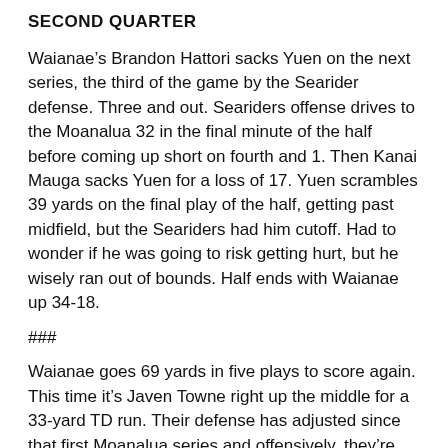SECOND QUARTER
Waianae’s Brandon Hattori sacks Yuen on the next series, the third of the game by the Searider defense. Three and out. Seariders offense drives to the Moanalua 32 in the final minute of the half before coming up short on fourth and 1. Then Kanai Mauga sacks Yuen for a loss of 17. Yuen scrambles 39 yards on the final play of the half, getting past midfield, but the Seariders had him cutoff. Had to wonder if he was going to risk getting hurt, but he wisely ran out of bounds. Half ends with Waianae up 34-18.
###
Waianae goes 69 yards in five plays to score again. This time it’s Javen Towne right up the middle for a 33-yard TD run. Their defense has adjusted since that first Moanalua series and offensively, they’re dominating in the box. WAIN 34, MOA 18, 4:52.
###